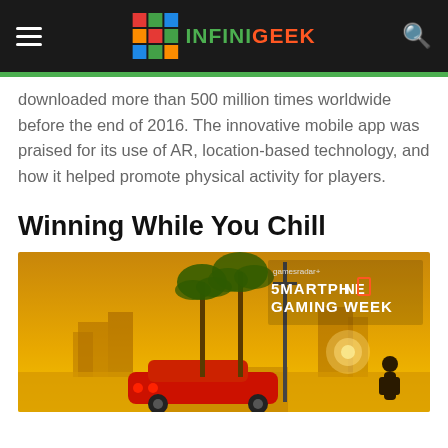INFINIGEEK
downloaded more than 500 million times worldwide before the end of 2016. The innovative mobile app was praised for its use of AR, location-based technology, and how it helped promote physical activity for players.
Winning While You Chill
[Figure (screenshot): GamesRadar+ Smartphone Gaming Week promotional image showing a GTA-style scene with palm trees, a red convertible car, and a city skyline at sunset with orange/yellow sky.]